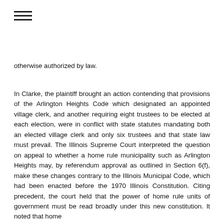otherwise authorized by law.
In Clarke, the plaintiff brought an action contending that provisions of the Arlington Heights Code which designated an appointed village clerk, and another requiring eight trustees to be elected at each election, were in conflict with state statutes mandating both an elected village clerk and only six trustees and that state law must prevail. The Illinois Supreme Court interpreted the question on appeal to whether a home rule municipality such as Arlington Heights may, by referendum approval as outlined in Section 6(f), make these changes contrary to the Illinois Municipal Code, which had been enacted before the 1970 Illinois Constitution. Citing precedent, the court held that the power of home rule units of government must be read broadly under this new constitution. It noted that home